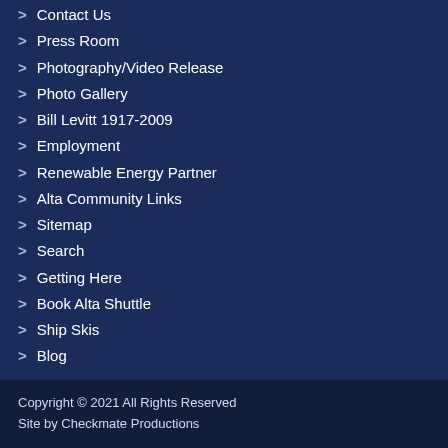> Contact Us
> Press Room
> Photography/Video Release
> Photo Gallery
> Bill Levitt 1917-2009
> Employment
> Renewable Energy Partner
> Alta Community Links
> Sitemap
> Search
> Getting Here
> Book Alta Shuttle
> Ship Skis
> Blog
Copyright © 2021 All Rights Reserved
Site by Checkmate Productions